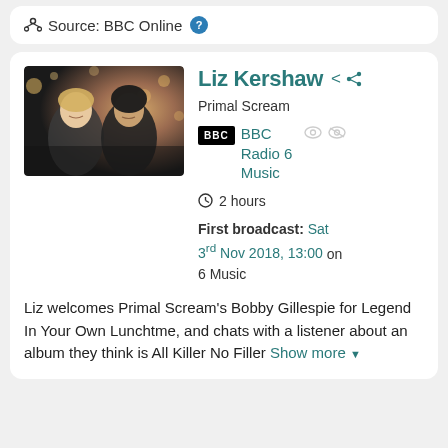Source: BBC Online
Liz Kershaw
Primal Scream
BBC Radio 6 Music
2 hours
First broadcast: Sat 3rd Nov 2018, 13:00 on 6 Music
Liz welcomes Primal Scream's Bobby Gillespie for Legend In Your Own Lunchtme, and chats with a listener about an album they think is All Killer No Filler Show more